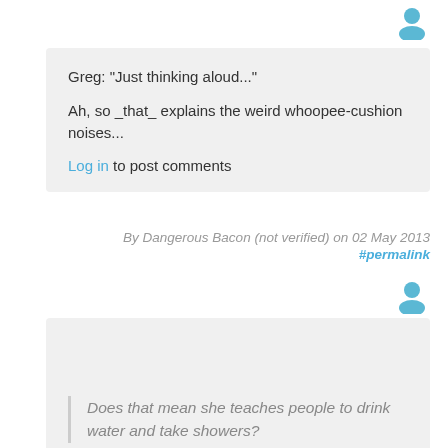[Figure (illustration): User avatar icon (blue silhouette) in top right corner]
Greg: "Just thinking aloud..."

Ah, so _that_ explains the weird whoopee-cushion noises...

Log in to post comments
By Dangerous Bacon (not verified) on 02 May 2013
#permalink
[Figure (illustration): User avatar icon (blue silhouette) below the attribution line]
Does that mean she teaches people to drink water and take showers?